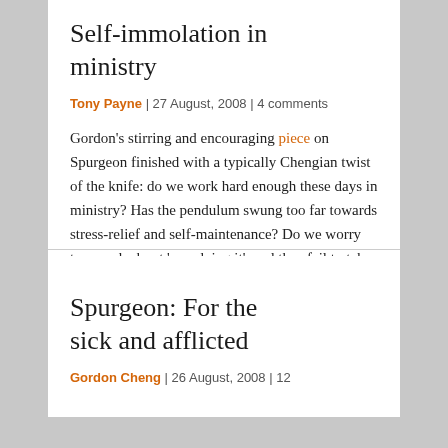Self-immolation in ministry
Tony Payne | 27 August, 2008 | 4 comments
Gordon's stirring and encouraging piece on Spurgeon finished with a typically Chengian twist of the knife: do we work hard enough these days in ministry? Has the pendulum swung too far towards stress-relief and self-maintenance? Do we worry too much about 'overdoing it', and thus fail to take up opportunities that come to hand?
(more…)
Spurgeon: For the sick and afflicted
Gordon Cheng | 26 August, 2008 | 12